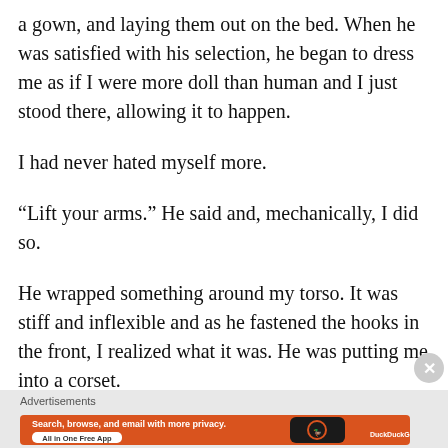a gown, and laying them out on the bed. When he was satisfied with his selection, he began to dress me as if I were more doll than human and I just stood there, allowing it to happen.
I had never hated myself more.
“Lift your arms.” He said and, mechanically, I did so.
He wrapped something around my torso. It was stiff and inflexible and as he fastened the hooks in the front, I realized what it was. He was putting me into a corset.
Advertisements
[Figure (screenshot): DuckDuckGo advertisement banner with orange background. Text: Search, browse, and email with more privacy. All in One Free App. Shows a smartphone with DuckDuckGo logo.]